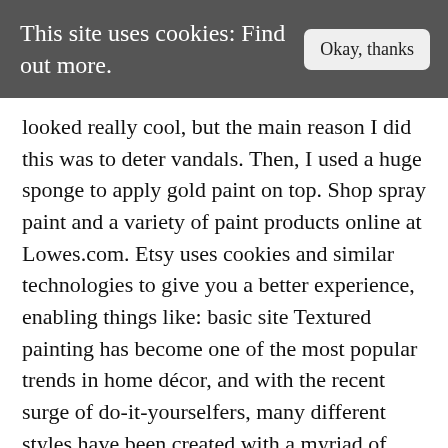This site uses cookies: Find out more.
Okay, thanks
looked really cool, but the main reason I did this was to deter vandals. Then, I used a huge sponge to apply gold paint on top. Shop spray paint and a variety of paint products online at Lowes.com. Etsy uses cookies and similar technologies to give you a better experience, enabling things like: basic site Textured painting has become one of the most popular trends in home décor, and with the recent surge of do-it-yourselfers, many different styles have been created with a myriad of colors to choose from. Seal porous & powdery surfaces, such as new plaster, with B&Q plaster sealer